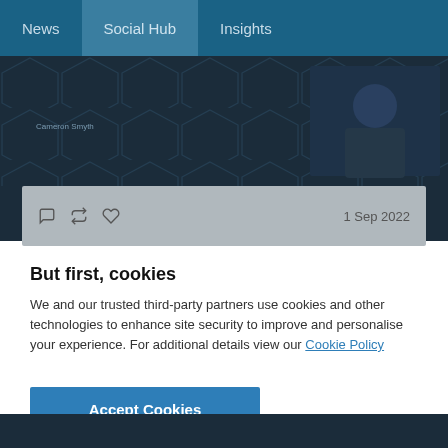News | Social Hub | Insights
[Figure (screenshot): Dark social hub card with hexagon pattern background, author text, tweet action icons (comment, retweet, like), and date '1 Sep 2022' on a grey bar]
But first, cookies
We and our trusted third-party partners use cookies and other technologies to enhance site security to improve and personalise your experience. For additional details view our Cookie Policy
Accept Cookies
Manage Settings